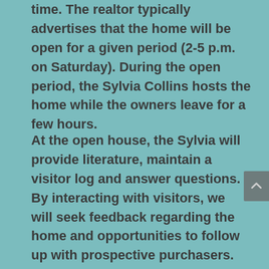time. The realtor typically advertises that the home will be open for a given period (2-5 p.m. on Saturday). During the open period, the Sylvia Collins hosts the home while the owners leave for a few hours.
At the open house, the Sylvia will provide literature, maintain a visitor log and answer questions. By interacting with visitors, we will seek feedback regarding the home and opportunities to follow up with prospective purchasers.